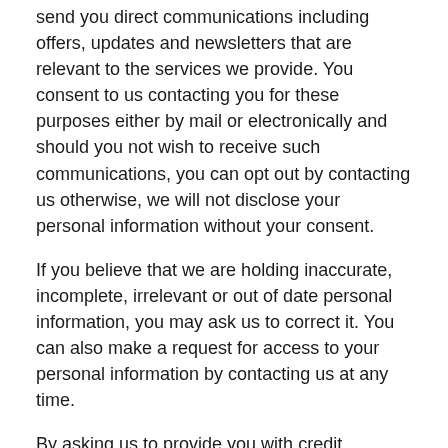send you direct communications including offers, updates and newsletters that are relevant to the services we provide.  You consent to us contacting you for these purposes either by mail or electronically and should you not wish to receive such communications, you can opt out by contacting us otherwise, we will not disclose your personal information without your consent.
If you believe that we are holding inaccurate, incomplete, irrelevant or out of date personal information, you may ask us to correct it.  You can also make a request for access to your personal information by contacting us at any time.
By asking us to provide you with credit assistance, you consent to the collection and use of your personal information which you have provided to us for the purposes outlined above.
For more information on your privacy rights please visit www.privacy.gov.au